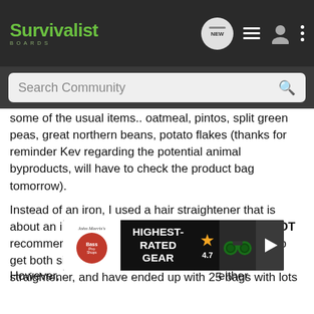Survivalist BOARDS — navigation bar with search
some of the usual items.. oatmeal, pintos, split green peas, great northern beans, potato flakes (thanks for reminder Kev regarding the potential animal byproducts, will have to check the product bag tomorrow).
Instead of an iron, I used a hair straightener that is about an inch and half wide. In hindsight, I would NOT recommend using such a device. I found it difficult to get both sides of the bag flat when applying the straightener, and have ended up with 25 bags with lots of wrinkles in the sealing area. I didn't think of this as an issue at the time, and now I'm afraid I have 25 useless bags. I also think I tried to put too much in the bags in conjunction with using a hair straightener. I could have done better had I had an other pair of hands.
[Figure (screenshot): Bass Pro Shops advertisement banner: HIGHEST-RATED GEAR, rating 4.7 stars, with binoculars image and play button]
However,                                                   either